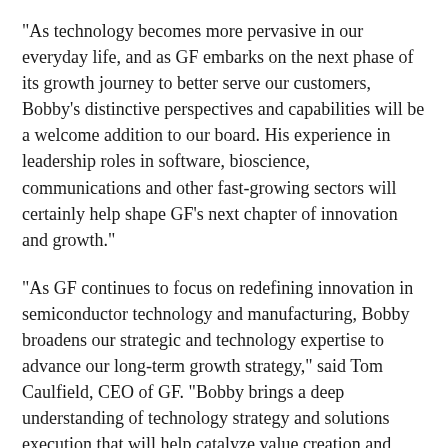“As technology becomes more pervasive in our everyday life, and as GF embarks on the next phase of its growth journey to better serve our customers, Bobby’s distinctive perspectives and capabilities will be a welcome addition to our board. His experience in leadership roles in software, bioscience, communications and other fast-growing sectors will certainly help shape GF’s next chapter of innovation and growth.”
“As GF continues to focus on redefining innovation in semiconductor technology and manufacturing, Bobby broadens our strategic and technology expertise to advance our long-term growth strategy,” said Tom Caulfield, CEO of GF. “Bobby brings a deep understanding of technology strategy and solutions execution that will help catalyze value creation and expand our reach to meet the future needs of our customers.”